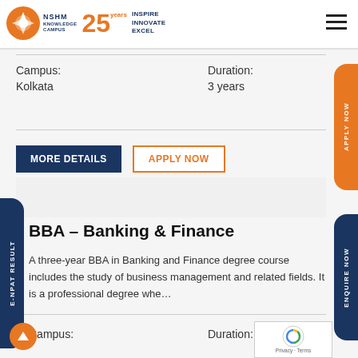NSHM Knowledge Campus – 25 years – Inspire Innovate Excel
Campus:
Kolkata
Duration:
3 years
MORE DETAILS
APPLY NOW
BBA – Banking & Finance
A three-year BBA in Banking and Finance degree course includes the study of business management and related fields. It is a professional degree whe…
Campus:
Duration: